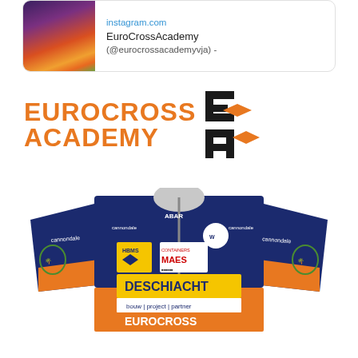[Figure (screenshot): Instagram card preview showing a sunset landscape photo thumbnail on the left, with 'instagram.com' URL in blue, 'EuroCrossAcademy' title, and '@eurocrossacademyvja) -' handle text]
[Figure (logo): EuroCross Academy logo with large bold orange text 'EUROCROSS ACADEMY' on the left and stylized black/orange EXA monogram icon on the right]
[Figure (photo): Cycling jersey in navy blue and orange with sponsor logos including Cannondale, ABAR, HBMS, Containers MAES, DESCHIACHT (bouw | project | partner), and EuroCross at the bottom]